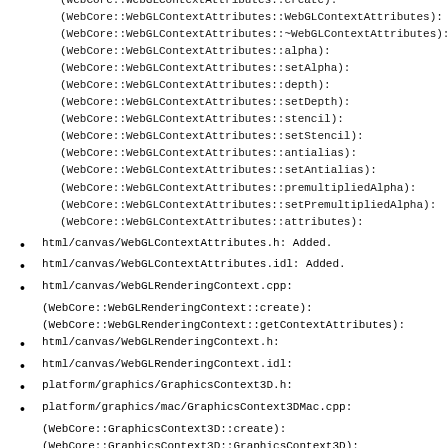(WebCore::WebGLContextAttributes::create):
(WebCore::WebGLContextAttributes::WebGLContextAttributes):
(WebCore::WebGLContextAttributes::~WebGLContextAttributes):
(WebCore::WebGLContextAttributes::alpha):
(WebCore::WebGLContextAttributes::setAlpha):
(WebCore::WebGLContextAttributes::depth):
(WebCore::WebGLContextAttributes::setDepth):
(WebCore::WebGLContextAttributes::stencil):
(WebCore::WebGLContextAttributes::setStencil):
(WebCore::WebGLContextAttributes::antialias):
(WebCore::WebGLContextAttributes::setAntialias):
(WebCore::WebGLContextAttributes::premultipliedAlpha):
(WebCore::WebGLContextAttributes::setPremultipliedAlpha):
(WebCore::WebGLContextAttributes::attributes):
html/canvas/WebGLContextAttributes.h: Added.
html/canvas/WebGLContextAttributes.idl: Added.
html/canvas/WebGLRenderingContext.cpp:
(WebCore::WebGLRenderingContext::create):
(WebCore::WebGLRenderingContext::getContextAttributes):
html/canvas/WebGLRenderingContext.h:
html/canvas/WebGLRenderingContext.idl:
platform/graphics/GraphicsContext3D.h:
platform/graphics/mac/GraphicsContext3DMac.cpp:
(WebCore::GraphicsContext3D::create):
(WebCore::GraphicsContext3D::GraphicsContext3D):
(WebCore::GraphicsContext3D::getContextAttributes):